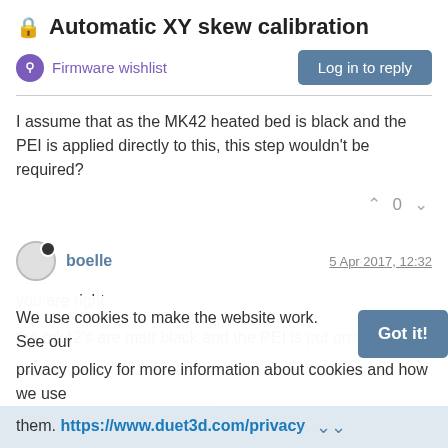🔒 Automatic XY skew calibration
Firmware wishlist
Log in to reply
I assume that as the MK42 heated bed is black and the PEI is applied directly to this, this step wouldn't be required?
^ 0 v
boelle  5 Apr 2017, 12:32
you are right
the mk42's are matt black and the PEI is put on top
i too will end up with the mini ir, i assume that the duet w
make use of the analog output
We use cookies to make the website work. See our  privacy policy for more information about cookies and how we use them. https://www.duet3d.com/privacy